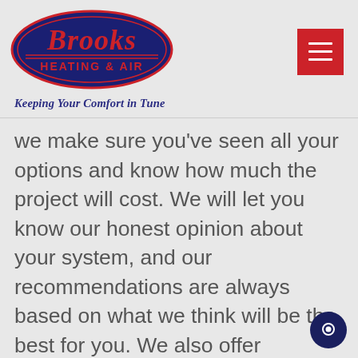[Figure (logo): Brooks Heating & Air logo — navy blue oval with red script 'Brooks' text at top, 'HEATING & AIR' in red block letters below, two red horizontal lines, on a navy background]
Keeping Your Comfort in Tune
[Figure (other): Red hamburger/menu button with three white horizontal lines]
we make sure you've seen all your options and know how much the project will cost. We will let you know our honest opinion about your system, and our recommendations are always based on what we think will be the best for you. We also offer financing that can help with your HVAC system repair.